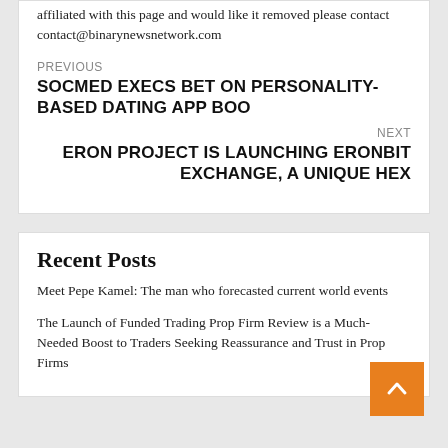affiliated with this page and would like it removed please contact contact@binarynewsnetwork.com
PREVIOUS
SOCMED EXECS BET ON PERSONALITY-BASED DATING APP BOO
NEXT
ERON PROJECT IS LAUNCHING ERONBIT EXCHANGE, A UNIQUE HEX
Recent Posts
Meet Pepe Kamel: The man who forecasted current world events
The Launch of Funded Trading Prop Firm Review is a Much-Needed Boost to Traders Seeking Reassurance and Trust in Prop Firms